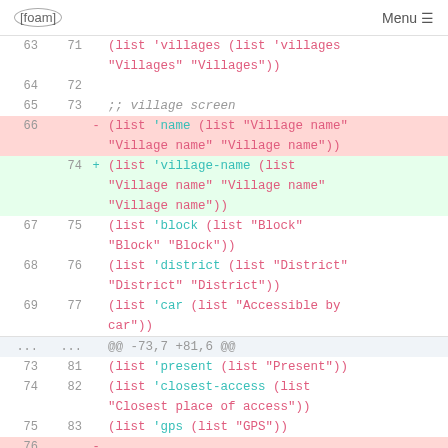[foam] Menu
[Figure (screenshot): Code diff view showing changes to a Clojure/Lisp file with line numbers, deletion and addition markers, syntax highlighting in pink and teal colors. Shows diff hunks for village-related list definitions including villages, village name, block, district, car, present, closest-access, gps fields.]